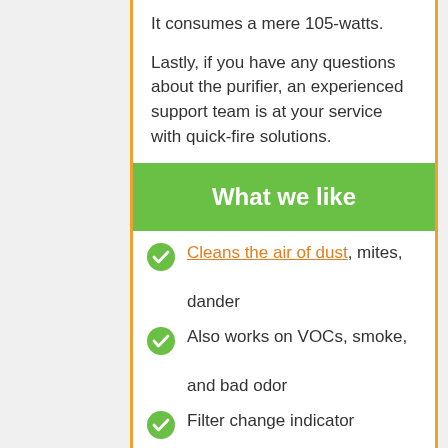It consumes a mere 105-watts.
Lastly, if you have any questions about the purifier, an experienced support team is at your service with quick-fire solutions.
What we like
Cleans the air of dust, mites, dander
Also works on VOCs, smoke, and bad odor
Filter change indicator